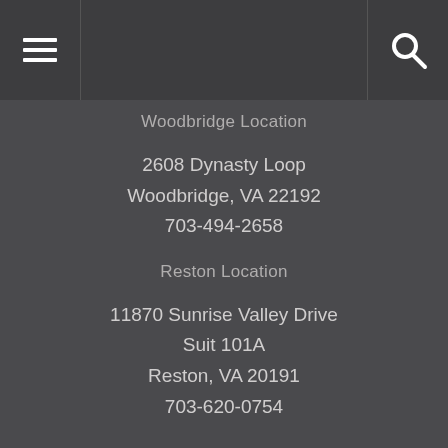Woodbridge Location
Woodbridge Location
2608 Dynasty Loop
Woodbridge, VA 22192
703-494-2658
Reston Location
11870 Sunrise Valley Drive
Suit 101A
Reston, VA 20191
703-620-0754
pweorders@gmail.com